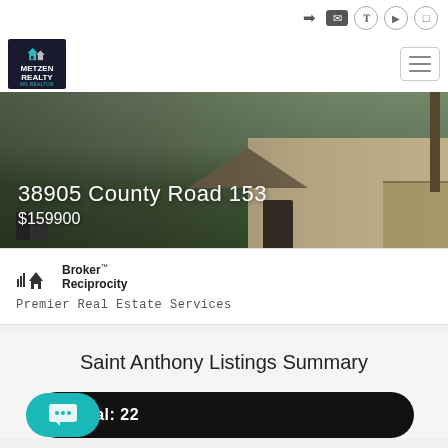[Figure (screenshot): Metzen Realty website screenshot showing a property listing at 38905 County Road 153 priced at $159,900, with Broker Reciprocity logo, Premier Real Estate Services caption, and Saint Anthony Listings Summary section showing Total: 22]
38905 County Road 153
$159900
[Figure (logo): Broker Reciprocity logo with house icon]
Broker™
Reciprocity
Premier Real Estate Services
Saint Anthony Listings Summary
Total: 22